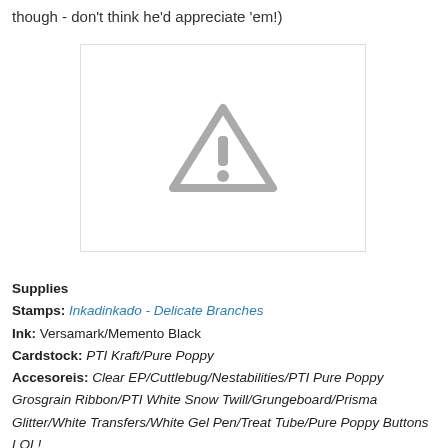though - don't think he'd appreciate 'em!)
[Figure (photo): Placeholder image with a gray warning triangle icon containing an exclamation mark, set on a white background with a light border.]
Supplies
Stamps: Inkadinkado - Delicate Branches
Ink: Versamark/Memento Black
Cardstock: PTI Kraft/Pure Poppy
Accesoreis: Clear EP/Cuttlebug/Nestabilities/PTI Pure Poppy Grosgrain Ribbon/PTI White Snow Twill/Grungeboard/Prisma Glitter/White Transfers/White Gel Pen/Treat Tube/Pure Poppy Buttons LOL!